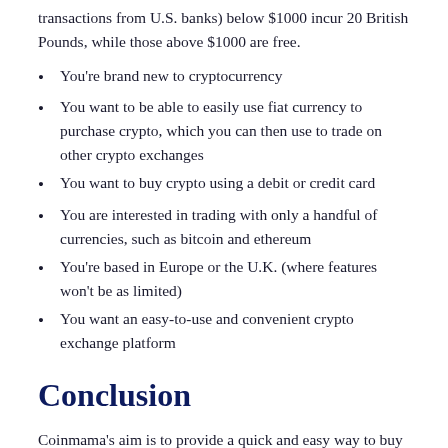transactions from U.S. banks) below $1000 incur 20 British Pounds, while those above $1000 are free.
You're brand new to cryptocurrency
You want to be able to easily use fiat currency to purchase crypto, which you can then use to trade on other crypto exchanges
You want to buy crypto using a debit or credit card
You are interested in trading with only a handful of currencies, such as bitcoin and ethereum
You're based in Europe or the U.K. (where features won't be as limited)
You want an easy-to-use and convenient crypto exchange platform
Conclusion
Coinmama's aim is to provide a quick and easy way to buy and sell cryptocurrency through an easy-to-use interface and simple